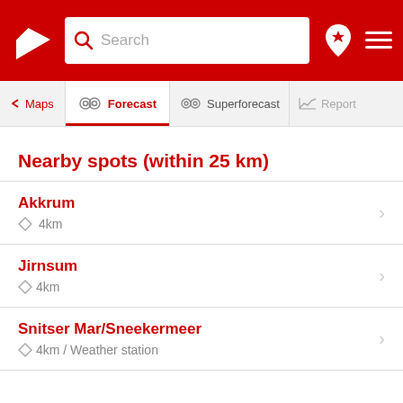Search bar with Windguru logo, location icon, and menu icon
Maps | Forecast | Superforecast | Report
Nearby spots (within 25 km)
Akkrum
◇ 4km
Jirnsum
◇ 4km
Snitser Mar/Sneekermeer
◇ 4km / Weather station